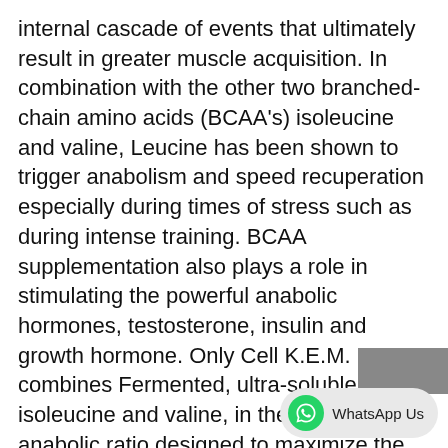internal cascade of events that ultimately result in greater muscle acquisition. In combination with the other two branched-chain amino acids (BCAA's) isoleucine and valine, Leucine has been shown to trigger anabolism and speed recuperation especially during times of stress such as during intense training. BCAA supplementation also plays a role in stimulating the powerful anabolic hormones, testosterone, insulin and growth hormone. Only Cell K.E.M. combines Fermented, ultra-soluble, vegan isoleucine and valine, in the 4:1:1 anabolic ratio designed to maximize the anabolic impact of BIOferm QA. No other formula can match this. *BIOferm QA is plant-based, Fermented, and Instantized for ultra-absorpi